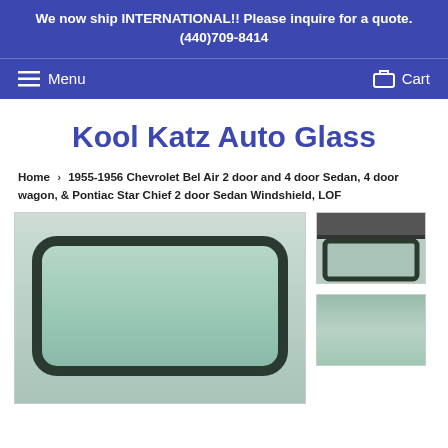We now ship INTERNATIONAL!! Please inquire for a quote. (440)709-8414
Menu   Cart
Kool Katz Auto Glass
Home › 1955-1956 Chevrolet Bel Air 2 door and 4 door Sedan, 4 door wagon, & Pontiac Star Chief 2 door Sedan Windshield, LOF
[Figure (photo): Large windshield glass with dark border, green tint, curved rectangular shape, photographed against grey background]
[Figure (photo): Thumbnail showing close-up of top edge of windshield with dark border strip]
[Figure (photo): Thumbnail showing full windshield glass with green tint]